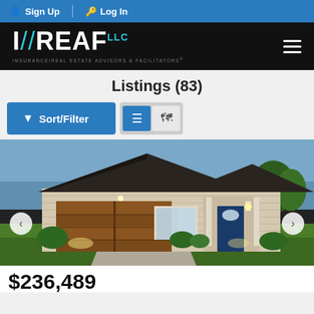Sign Up  Log In
[Figure (logo): IREAF LLC logo - Insurance/Real Estate Advisors & Facilitators, white text on black background with teal slash and accent]
Listings (83)
[Figure (other): Sort/Filter button and list/map view toggle buttons]
[Figure (photo): Exterior photo of a single-story brick home with dark roof, two-car garage, blue front door, and landscaping at dusk]
$236,489